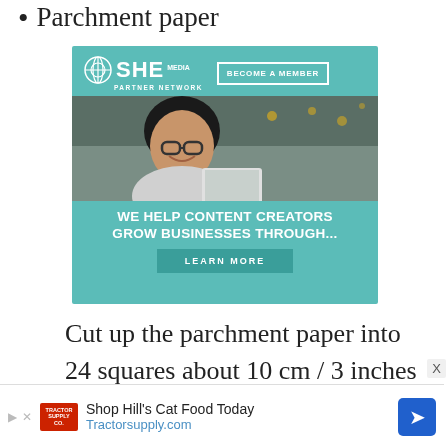Parchment paper
[Figure (infographic): SHE Media Partner Network advertisement with teal background. Top section shows SHE Media logo and 'BECOME A MEMBER' button. Middle shows a smiling woman with glasses using a laptop. Bottom text reads 'WE HELP CONTENT CREATORS GROW BUSINESSES THROUGH...' with a 'LEARN MORE' button.]
Cut up the parchment paper into 24 squares about 10 cm / 3 inches
[Figure (infographic): Advertisement banner: Shop Hill's Cat Food Today - Tractorsupply.com with Tractor Supply Co logo and blue directional arrow icon.]